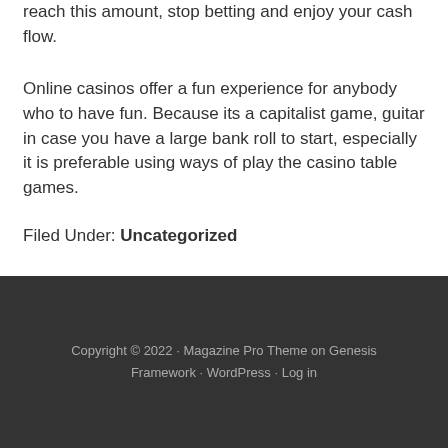reach this amount, stop betting and enjoy your cash flow.
Online casinos offer a fun experience for anybody who to have fun. Because its a capitalist game, guitar in case you have a large bank roll to start, especially it is preferable using ways of play the casino table games.
Filed Under: Uncategorized
Copyright © 2022 · Magazine Pro Theme on Genesis Framework · WordPress · Log in